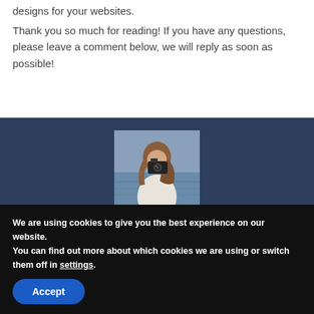designs for your websites.
Thank you so much for reading! If you have any questions, please leave a comment below, we will reply as soon as possible!
[Figure (photo): Author box with dark navy background showing a woman photographing with a camera near water, centered. Yellow list icon in bottom-right corner.]
WS Content Team
We are using cookies to give you the best experience on our website.
You can find out more about which cookies we are using or switch them off in settings.
Accept